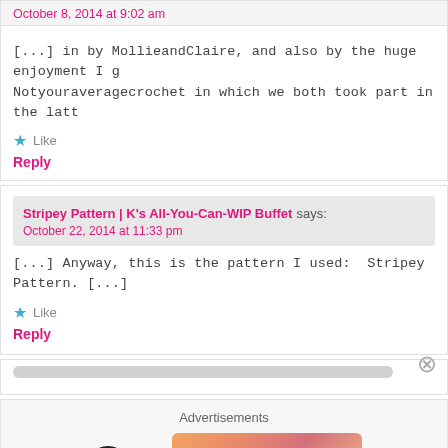October 8, 2014 at 9:02 am
[...] in by MollieandClaire, and also by the huge enjoyment I g Notyouraveragecrochet in which we both took part in the latt
Like
Reply
Stripey Pattern | K's All-You-Can-WIP Buffet says:
October 22, 2014 at 11:33 pm
[...] Anyway, this is the pattern I used:  Stripey Pattern. [...]
Like
Reply
Advertisements
[Figure (logo): WordPress VIP logo and advertisement banner with Learn more button]